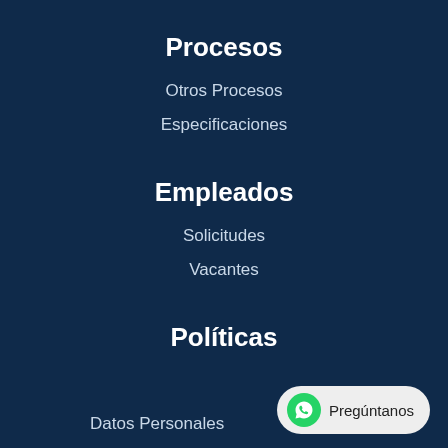Procesos
Otros Procesos
Especificaciones
Empleados
Solicitudes
Vacantes
Políticas
Datos Personales
[Figure (other): WhatsApp chat button with green icon and label 'Pregúntanos']